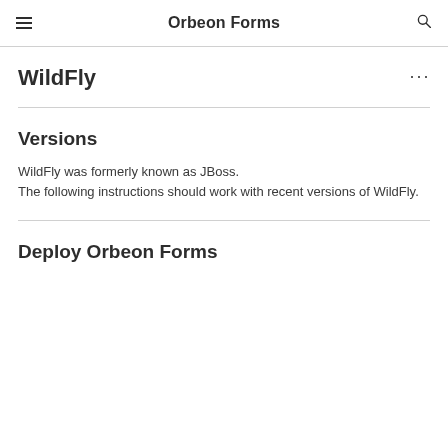Orbeon Forms
WildFly
Versions
WildFly was formerly known as JBoss.
The following instructions should work with recent versions of WildFly.
Deploy Orbeon Forms